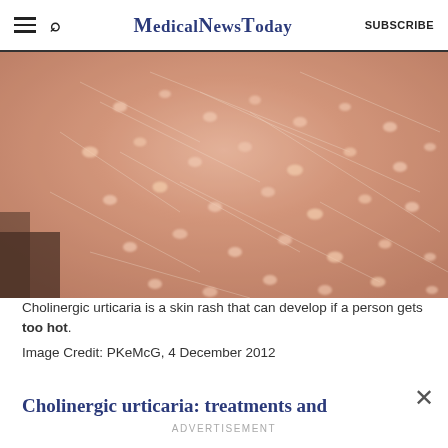MedicalNewsToday SUBSCRIBE
[Figure (photo): Close-up photograph of human skin showing small raised bumps characteristic of cholinergic urticaria (heat rash), with fine hairs visible on pinkish skin]
Cholinergic urticaria is a skin rash that can develop if a person gets too hot.
Image Credit: PKeMcG, 4 December 2012
Cholinergic urticaria: treatments and...